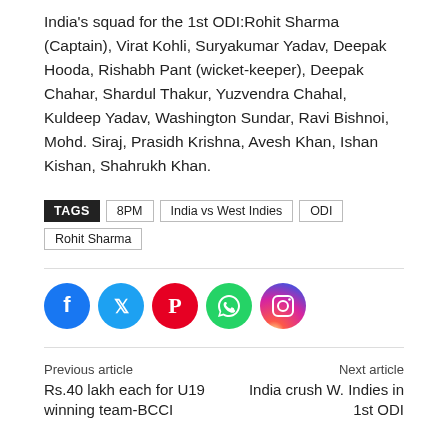India's squad for the 1st ODI:Rohit Sharma (Captain), Virat Kohli, Suryakumar Yadav, Deepak Hooda, Rishabh Pant (wicket-keeper), Deepak Chahar, Shardul Thakur, Yuzvendra Chahal, Kuldeep Yadav, Washington Sundar, Ravi Bishnoi, Mohd. Siraj, Prasidh Krishna, Avesh Khan, Ishan Kishan, Shahrukh Khan.
TAGS  8PM  India vs West Indies  ODI  Rohit Sharma
[Figure (infographic): Social media share icons: Facebook (blue circle), Twitter (light blue circle), Pinterest (red circle), WhatsApp (green circle), Instagram (gradient purple-orange circle)]
Previous article
Rs.40 lakh each for U19 winning team-BCCI
Next article
India crush W. Indies in 1st ODI